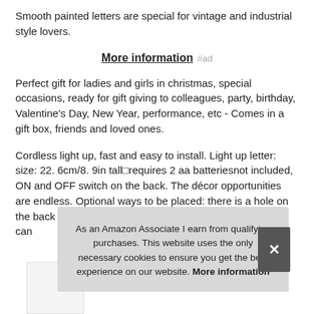Smooth painted letters are special for vintage and industrial style lovers.
More information #ad
Perfect gift for ladies and girls in christmas, special occasions, ready for gift giving to colleagues, party, birthday, Valentine's Day, New Year, performance, etc - Comes in a gift box, friends and loved ones.
Cordless light up, fast and easy to install. Light up letter: size: 22. 6cm/8. 9in tall requires 2 aa batteriesnot included, ON and OFF switch on the back. The décor opportunities are endless. Optional ways to be placed: there is a hole on the back you can…
As an Amazon Associate I earn from qualifying purchases. This website uses the only necessary cookies to ensure you get the best experience on our website. More information